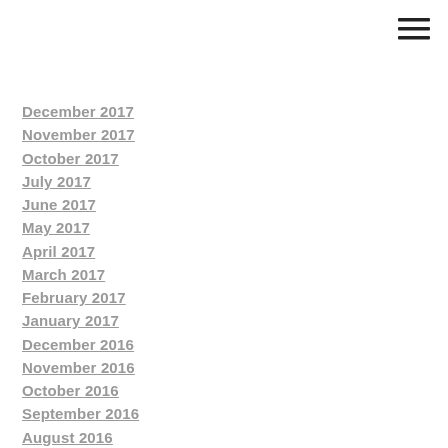[Figure (other): Hamburger menu icon (three horizontal lines) in top right corner]
December 2017
November 2017
October 2017
July 2017
June 2017
May 2017
April 2017
March 2017
February 2017
January 2017
December 2016
November 2016
October 2016
September 2016
August 2016
July 2016
June 2016